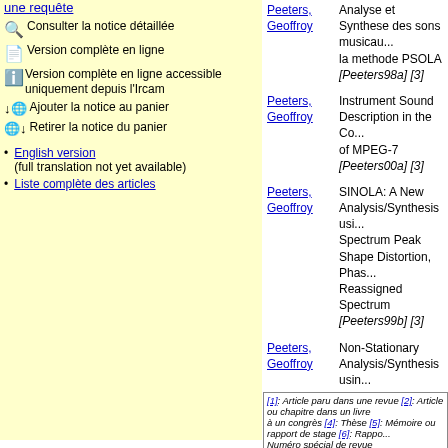une requête
Consulter la notice détaillée
Version complète en ligne
Version complète en ligne accessible uniquement depuis l'Ircam
Ajouter la notice au panier
Retirer la notice du panier
English version (full translation not yet available)
Liste complète des articles
Peeters, Geoffroy — Analyse et Synthese des sons musicau... la methode PSOLA [Peeters98a] [3]
Peeters, Geoffroy — Instrument Sound Description in the Co... of MPEG-7 [Peeters00a] [3]
Peeters, Geoffroy — SINOLA: A New Analysis/Synthesis usi... Spectrum Peak Shape Distortion, Phas... Reassigned Spectrum [Peeters99b] [3]
Peeters, Geoffroy — Non-Stationary Analysis/Synthesis usin... Spectrum Peak Shape Distortion, Phas... Reassignement [Peeters99a] [3]
Peeters, Geoffroy — Signal Characterization in terms of Sinusoidal and Non-Sinusoidal Compo... [Peeters98b] [3]
Peeters, Geoffroy — m5422 Audio CE for Instrument Descri... (Timbre Similarity) [Peeters99e] [3]
[1]: Article paru dans une revue [2]: Article ou chapitre dans un livre ... à un congrès [4]: Thèse [5]: Mémoire ou rapport de stage [6]: Rappo... Numéro spécial de revue